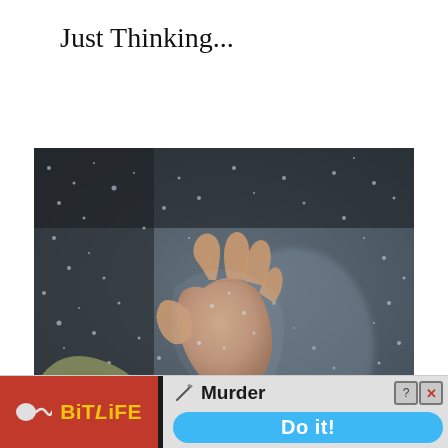Just Thinking...
[Figure (photo): A hand pressed against a rain-covered glass window from the inside, with a person wearing a green/olive sweater visible in the background. The scene is moody and somber, with water droplets covering the glass.]
[Figure (other): Advertisement banner for BitLife mobile game showing red left panel with sperm logo and yellow 'BITLIFE' text, and gray right panel showing a knife icon, 'Murder' text, close/help buttons, and a blue 'Do it!' button.]